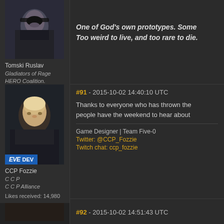[Figure (photo): Avatar of Tomski Ruslav - dark male character with sunglasses]
Tomski Ruslav
Gladiators of Rage HERO Coalition.
Likes received: 13
Experience from both low sec and 0.0 ...
11 years of playing with all kinds of ship... Active and lots of experience with both s...
One of God's own prototypes. Some... Too weird to live, and too rare to die.
#91 - 2015-10-02 14:40:10 UTC
[Figure (photo): Avatar of CCP Fozzie - blonde male character with EVE DEV badge]
CCP Fozzie
C C P
C C P Alliance
Likes received: 14,980
Thanks to everyone who has thrown the... people have the weekend to hear about...
Game Designer | Team Five-0
Twitter: @CCP_Fozzie
Twitch chat: ccp_fozzie
#92 - 2015-10-02 14:51:43 UTC